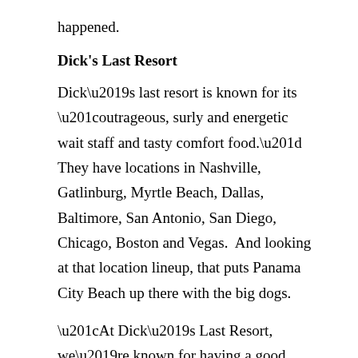happened.
Dick's Last Resort
Dick’s last resort is known for its “outrageous, surly and energetic wait staff and tasty comfort food.”  They have locations in Nashville, Gatlinburg, Myrtle Beach, Dallas, Baltimore, San Antonio, San Diego, Chicago, Boston and Vegas.  And looking at that location lineup, that puts Panama City Beach up there with the big dogs.
“At Dick’s Last Resort, we’re known for having a good time, but we’re very selective about where we do business,” said CEO Ted Moats. “Pier Park and Panama City Beach are a natural fit for the fun, energetic atmosphere we offer, and we are very excited to open our doors and meet the local community and visitors.”